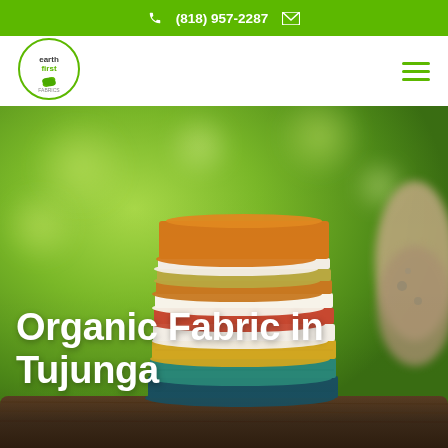(818) 957-2287
[Figure (logo): Earth First Fabrics circular logo with green leaf]
[Figure (photo): Stack of colorful organic patterned fabric bolts resting on a wooden log outdoors, with a dog sniffing at the right edge, blurred green background]
Organic Fabric in Tujunga